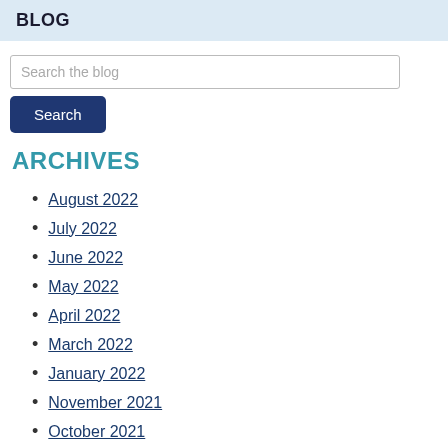BLOG
Search the blog
August 2022
July 2022
June 2022
May 2022
April 2022
March 2022
January 2022
November 2021
October 2021
September 2021
August 2021